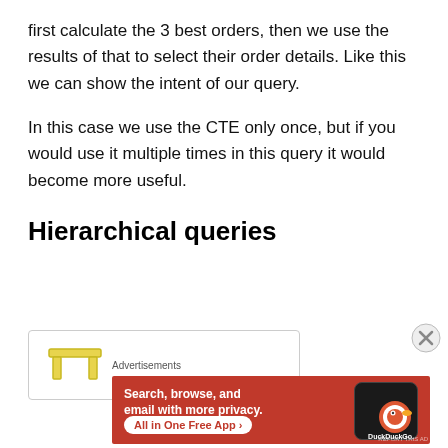first calculate the 3 best orders, then we use the results of that to select their order details. Like this we can show the intent of our query.
In this case we use the CTE only once, but if you would use it multiple times in this query it would become more useful.
Hierarchical queries
[Figure (other): Partial view of a database/SQL tool card icon (yellow table icon) inside a bordered card area]
[Figure (other): DuckDuckGo advertisement banner: orange/red background with text 'Search, browse, and email with more privacy. All in One Free App' and DuckDuckGo logo on a phone mockup]